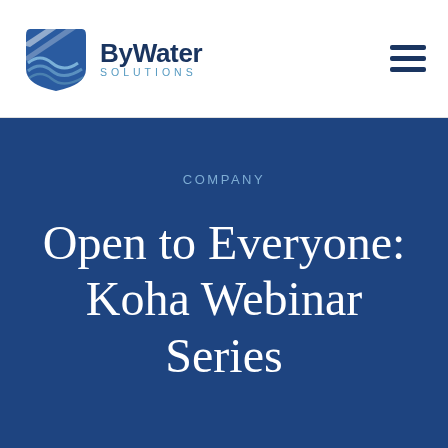[Figure (logo): ByWater Solutions logo with stylized water-drop/wave icon in blue and silver, with 'ByWater' in dark navy bold text and 'SOLUTIONS' in light blue spaced letters below]
COMPANY
Open to Everyone: Koha Webinar Series